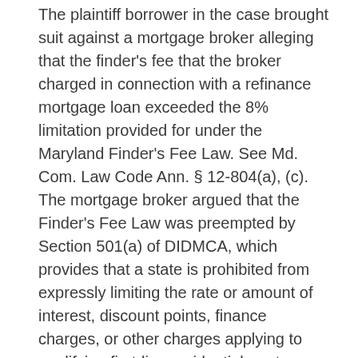The plaintiff borrower in the case brought suit against a mortgage broker alleging that the finder's fee that the broker charged in connection with a refinance mortgage loan exceeded the 8% limitation provided for under the Maryland Finder's Fee Law. See Md. Com. Law Code Ann. § 12-804(a), (c). The mortgage broker argued that the Finder's Fee Law was preempted by Section 501(a) of DIDMCA, which provides that a state is prohibited from expressly limiting the rate or amount of interest, discount points, finance charges, or other charges applying to qualifying first-lien residential mortgage loans. 12 U.S.C. § 1735f-7a(a)(1).
The plaintiff raised a number of arguments